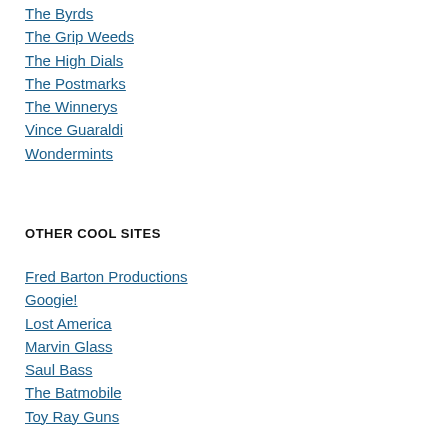The Byrds
The Grip Weeds
The High Dials
The Postmarks
The Winnerys
Vince Guaraldi
Wondermints
OTHER COOL SITES
Fred Barton Productions
Googie!
Lost America
Marvin Glass
Saul Bass
The Batmobile
Toy Ray Guns